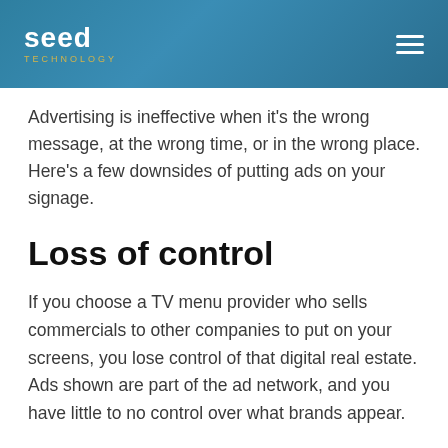seed TECHNOLOGY
Advertising is ineffective when it’s the wrong message, at the wrong time, or in the wrong place. Here’s a few downsides of putting ads on your signage.
Loss of control
If you choose a TV menu provider who sells commercials to other companies to put on your screens, you lose control of that digital real estate. Ads shown are part of the ad network, and you have little to no control over what brands appear.
But worse, these ads could be contradictory